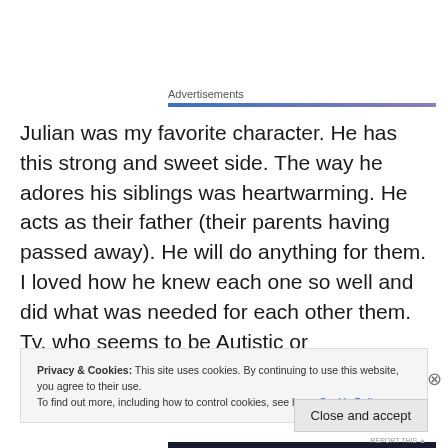Advertisements
Julian was my favorite character. He has this strong and sweet side. The way he adores his siblings was heartwarming. He acts as their father (their parents having passed away). He will do anything for them. I loved how he knew each one so well and did what was needed for each other them. Ty, who seems to be Autistic or
Privacy & Cookies: This site uses cookies. By continuing to use this website, you agree to their use.
To find out more, including how to control cookies, see here: Cookie Policy
Close and accept